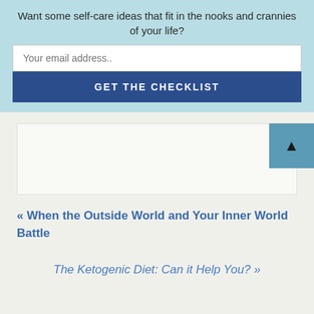Want some self-care ideas that fit in the nooks and crannies of your life?
Your email address..
GET THE CHECKLIST
« When the Outside World and Your Inner World Battle
The Ketogenic Diet: Can it Help You? »